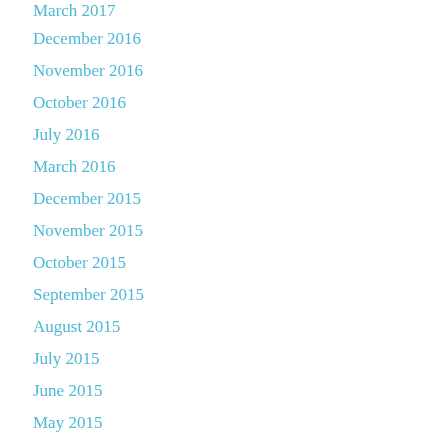March 2017
December 2016
November 2016
October 2016
July 2016
March 2016
December 2015
November 2015
October 2015
September 2015
August 2015
July 2015
June 2015
May 2015